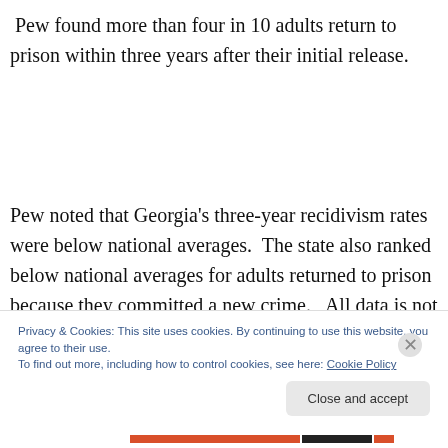Pew found more than four in 10 adults return to prison within three years after their initial release.
Pew noted that Georgia's three-year recidivism rates were below national averages.  The state also ranked below national averages for adults returned to prison because they committed a new crime.   All data is not equal, however, as Pew noted some states return adults to prison
Privacy & Cookies: This site uses cookies. By continuing to use this website, you agree to their use.
To find out more, including how to control cookies, see here: Cookie Policy
Close and accept